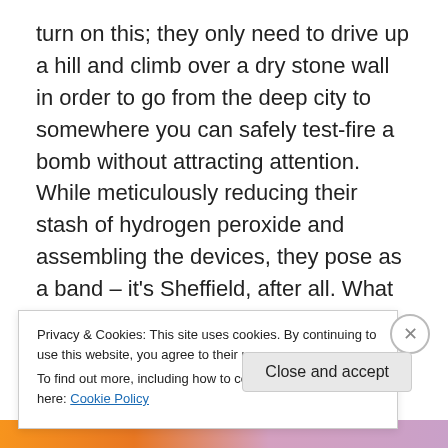turn on this; they only need to drive up a hill and climb over a dry stone wall in order to go from the deep city to somewhere you can safely test-fire a bomb without attracting attention. While meticulously reducing their stash of hydrogen peroxide and assembling the devices, they pose as a band – it's Sheffield, after all. What else? Inevitably, they attract a rehearsal studio hanger-on somewhere between cool and fairly serious mental illness. Again, who else? Their in-house psychopath is responsible for proclaiming the Islamic State of Tinsley (I really began to lose it with this bit). The volunteers hugely
Privacy & Cookies: This site uses cookies. By continuing to use this website, you agree to their use.
To find out more, including how to control cookies, see here: Cookie Policy
Close and accept